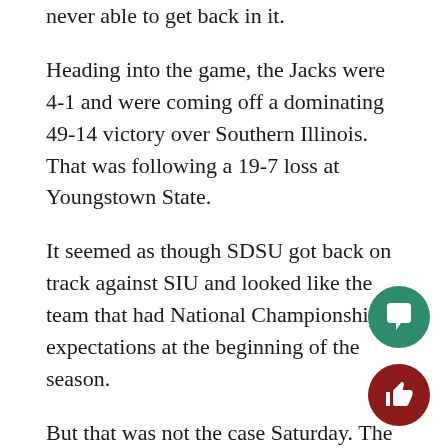never able to get back in it.
Heading into the game, the Jacks were 4-1 and were coming off a dominating 49-14 victory over Southern Illinois. That was following a 19-7 loss at Youngstown State.
It seemed as though SDSU got back on track against SIU and looked like the team that had National Championship expectations at the beginning of the season.
But that was not the case Saturday. The Jacks were out-rushed 218 to 12 and only held the ball for a total of 19:31 while UNI held it for 40:29. The Jacks were also 3-12 on third down.
Head coach John Stiegelmeier said after the game “people are going to second guess what we said early.”
I am one of those people. It’s not a good sign when you’re 4-2 at the halfway point of the season and four of your h